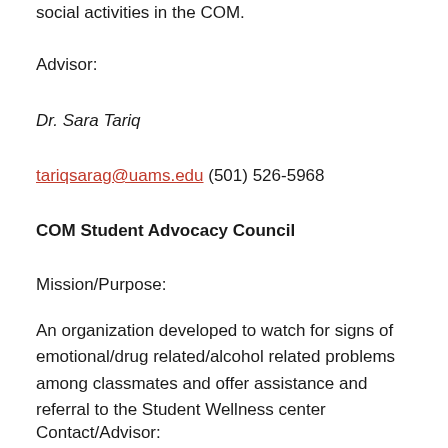social activities in the COM.
Advisor:
Dr. Sara Tariq
tariqsarag@uams.edu (501) 526-5968
COM Student Advocacy Council
Mission/Purpose:
An organization developed to watch for signs of emotional/drug related/alcohol related problems among classmates and offer assistance and referral to the Student Wellness center
Contact/Advisor: